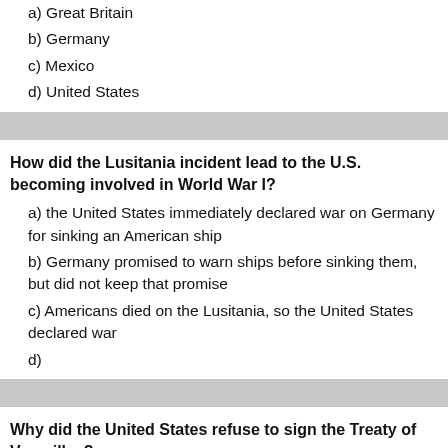a) Great Britain
b) Germany
c) Mexico
d) United States
How did the Lusitania incident lead to the U.S. becoming involved in World War I?
a) the United States immediately declared war on Germany for sinking an American ship
b) Germany promised to warn ships before sinking them, but did not keep that promise
c) Americans died on the Lusitania, so the United States declared war
d)
Why did the United States refuse to sign the Treaty of Versailles?
a) they did not agree with the League of Nations